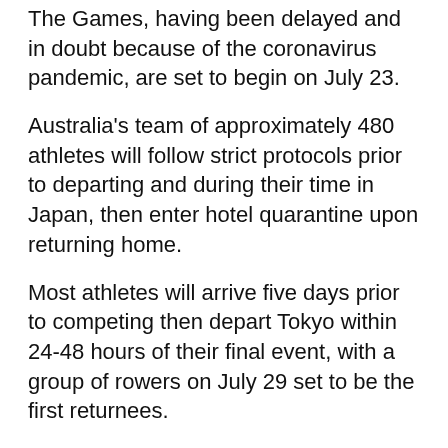The Games, having been delayed and in doubt because of the coronavirus pandemic, are set to begin on July 23.
Australia's team of approximately 480 athletes will follow strict protocols prior to departing and during their time in Japan, then enter hotel quarantine upon returning home.
Most athletes will arrive five days prior to competing then depart Tokyo within 24-48 hours of their final event, with a group of rowers on July 29 set to be the first returnees.
The Australian Olympic Committee (AOC) has been in talks with state governments regarding quarantine places for athletes, support staff and officials during the fly-in fly-out Games.
Australia's chef de mission Ian Chesterman told AAP in March that Sydney and Brisbane would be the most likely bases.
The majority of Olympic venues are set to...